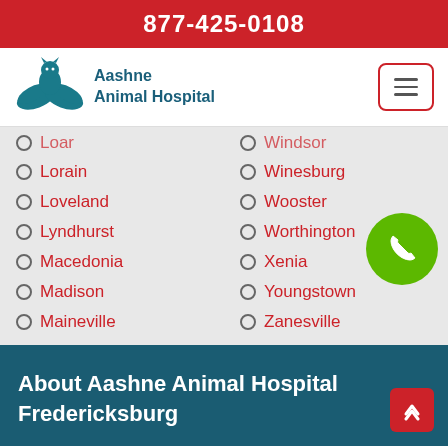877-425-0108
[Figure (logo): Aashne Animal Hospital logo with teal bird/hands icon and text]
Loar (partial, cut off)
Windsor (partial, cut off)
Lorain
Winesburg
Loveland
Wooster
Lyndhurst
Worthington
Macedonia
Xenia
Madison
Youngstown
Maineville
Zanesville
About Aashne Animal Hospital Fredericksburg